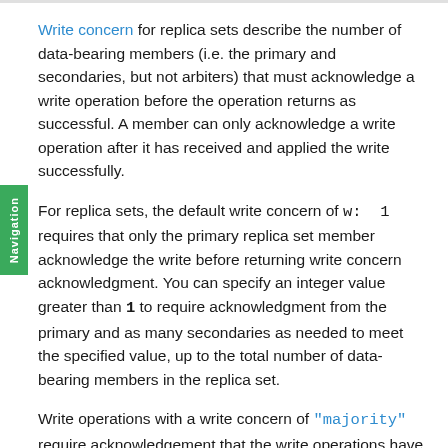Write concern for replica sets describe the number of data-bearing members (i.e. the primary and secondaries, but not arbiters) that must acknowledge a write operation before the operation returns as successful. A member can only acknowledge a write operation after it has received and applied the write successfully.
For replica sets, the default write concern of w: 1 requires that only the primary replica set member acknowledge the write before returning write concern acknowledgment. You can specify an integer value greater than 1 to require acknowledgment from the primary and as many secondaries as needed to meet the specified value, up to the total number of data-bearing members in the replica set.
Write operations with a write concern of "majority" require acknowledgement that the write operations have